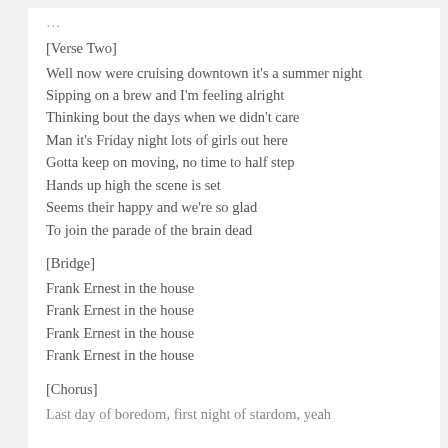[Verse Two]
Well now were cruising downtown it's a summer night
Sipping on a brew and I'm feeling alright
Thinking bout the days when we didn't care
Man it's Friday night lots of girls out here
Gotta keep on moving, no time to half step
Hands up high the scene is set
Seems their happy and we're so glad
To join the parade of the brain dead
[Bridge]
Frank Ernest in the house
Frank Ernest in the house
Frank Ernest in the house
Frank Ernest in the house
[Chorus]
Last day of boredom, first night of stardom, yeah